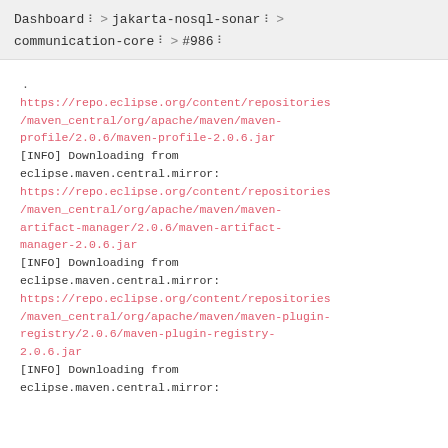Dashboard > jakarta-nosql-sonar > communication-core > #986
.
https://repo.eclipse.org/content/repositories/maven_central/org/apache/maven/maven-profile/2.0.6/maven-profile-2.0.6.jar
[INFO] Downloading from eclipse.maven.central.mirror:
https://repo.eclipse.org/content/repositories/maven_central/org/apache/maven/maven-artifact-manager/2.0.6/maven-artifact-manager-2.0.6.jar
[INFO] Downloading from eclipse.maven.central.mirror:
https://repo.eclipse.org/content/repositories/maven_central/org/apache/maven/maven-plugin-registry/2.0.6/maven-plugin-registry-2.0.6.jar
[INFO] Downloading from eclipse.maven.central.mirror: